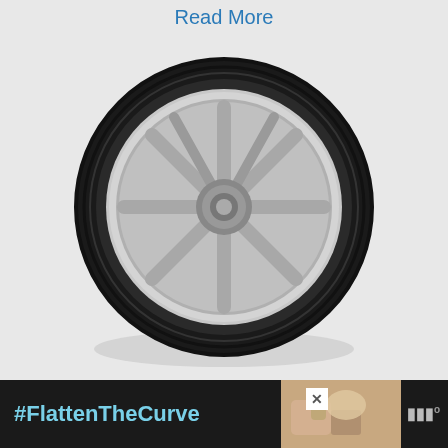Read More
[Figure (photo): A tire with silver alloy wheel on white background]
Top 3 Best Tires for a Lexus ES350: Technical Review
The Lexus ES350 is a midsize luxury sedan with a comfortable ride and precise handling. Because of this, tires are an important consideration that must …
Read More
[Figure (photo): Bottom portion of article image showing outdoor scene]
[Figure (screenshot): Advertisement bar at bottom: #FlattenTheCurve with handwashing image and MW logo]